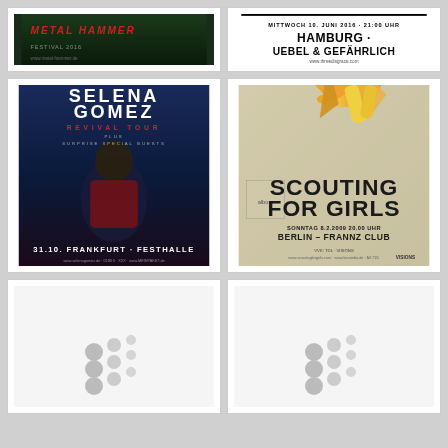[Figure (photo): Metal Hammer concert poster with dark green forest background]
[Figure (photo): Hamburg - Uebel & Gefährlich concert poster, white background with bold text, date 10. Juni 2016]
[Figure (photo): Selena Gomez Revival Tour concert poster, 31.10. Frankfurt Festhalle, blue dark background]
[Figure (photo): Scouting for Girls concert poster, Sonntag 8.2.2009 20.00 Uhr, Berlin - Frannz Club]
[Figure (photo): Loading placeholder with grey dots pattern]
[Figure (photo): Loading placeholder with grey dots pattern]